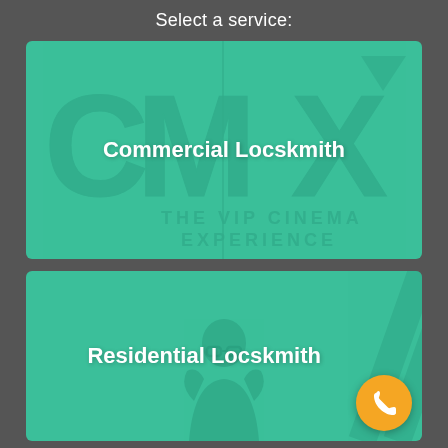Select a service:
[Figure (photo): Commercial Locksmith service card with teal/green overlay on a CMX cinema logo background. White bold text reads 'Commercial Locksmith' centered on the image.]
[Figure (photo): Residential Locksmith service card with teal/green overlay showing a person with glasses. White bold text reads 'Residential Locksmith' centered on the image. A yellow circular phone button appears in bottom-right corner.]